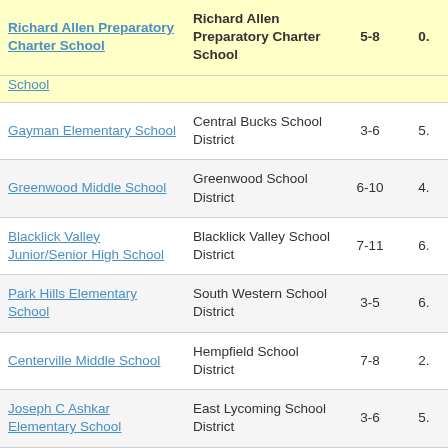| School Name | District | Grades | Value |
| --- | --- | --- | --- |
| Richard Allen Preparatory Charter School | Richard Allen Preparatory Charter School | 5-8 | 0. |
| School |  |  |  |
| Gayman Elementary School | Central Bucks School District | 3-6 | 5. |
| Greenwood Middle School | Greenwood School District | 6-10 | 4. |
| Blacklick Valley Junior/Senior High School | Blacklick Valley School District | 7-11 | 6. |
| Park Hills Elementary School | South Western School District | 3-5 | 6. |
| Centerville Middle School | Hempfield School District | 7-8 | 2. |
| Joseph C Ashkar Elementary School | East Lycoming School District | 3-6 | 5. |
| Central Mountain… | Keystone Central… |  |  |